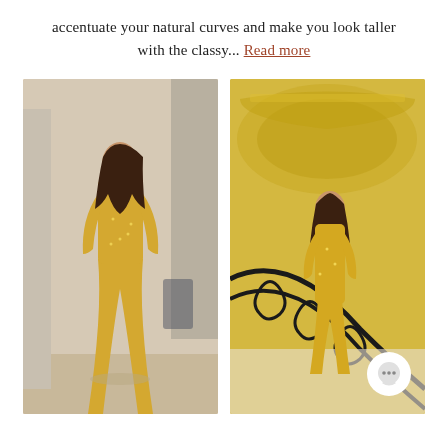accentuate your natural curves and make you look taller with the classy... Read more
[Figure (photo): Woman in a gold sequined long-sleeve jumpsuit with flared pants posing in an elegant interior with columns and marble floor]
[Figure (photo): Same woman in gold sequined jumpsuit standing on ornate staircase with black wrought-iron railing in a grand gilded hall, with a chat bubble icon in the lower right corner]